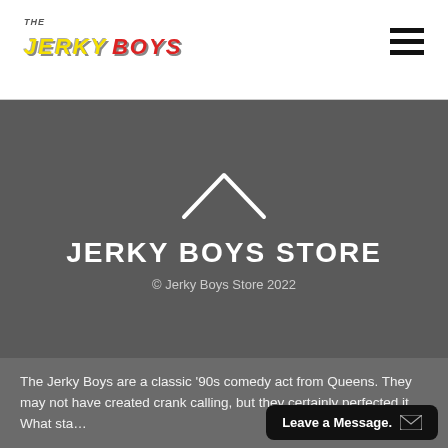THE JERKY BOYS [logo] [hamburger menu]
JERKY BOYS STORE
© Jerky Boys Store 2022
The Jerky Boys are a classic '90s comedy act from Queens. They may not have created crank calling, but they certainly perfected it. What sta… holding the phone up to a tan…
Leave a Message.